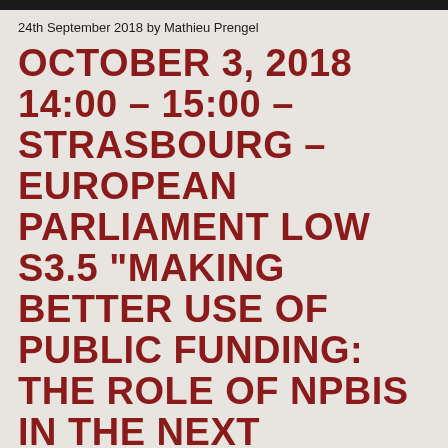24th September 2018 by Mathieu Prengel
OCTOBER 3, 2018 14:00 – 15:00 – STRASBOURG – EUROPEAN PARLIAMENT LOW S3.5 "MAKING BETTER USE OF PUBLIC FUNDING: THE ROLE OF NPBIS IN THE NEXT EU BUDGET" PUBLIC PRESENTATION
Throughout year 2017, the Jacques Delors Institute conducted a study (accessible here) which explores NPBIs' experience in the roll-out and implementation of EU market-based instruments with a strong perspective in th